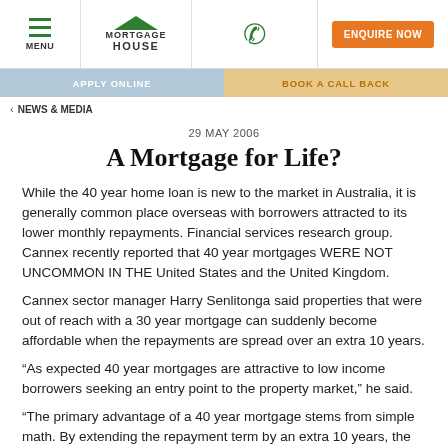[Figure (screenshot): Mortgage House website navigation bar with hamburger menu, logo, phone icon, and orange Enquire Now button]
[Figure (screenshot): Sub-navigation bar with Apply Online and Book a Callback buttons]
< NEWS & MEDIA
29 MAY 2006
A Mortgage for Life?
While the 40 year home loan is new to the market in Australia, it is generally common place overseas with borrowers attracted to its lower monthly repayments. Financial services research group. Cannex recently reported that 40 year mortgages WERE NOT UNCOMMON IN THE United States and the United Kingdom.
Cannex sector manager Harry Senlitonga said properties that were out of reach with a 30 year mortgage can suddenly become affordable when the repayments are spread over an extra 10 years.
“As expected 40 year mortgages are attractive to low income borrowers seeking an entry point to the property market,” he said.
“The primary advantage of a 40 year mortgage stems from simple math. By extending the repayment term by an extra 10 years, the